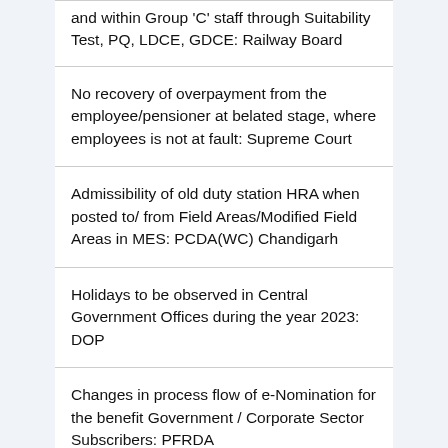and within Group 'C' staff through Suitability Test, PQ, LDCE, GDCE: Railway Board
No recovery of overpayment from the employee/pensioner at belated stage, where employees is not at fault: Supreme Court
Admissibility of old duty station HRA when posted to/ from Field Areas/Modified Field Areas in MES: PCDA(WC) Chandigarh
Holidays to be observed in Central Government Offices during the year 2023: DOP
Changes in process flow of e-Nomination for the benefit Government / Corporate Sector Subscribers: PFRDA
Online account opening and closure through DOP Internet Banking for Public Provident Fund (PPF) Accounts